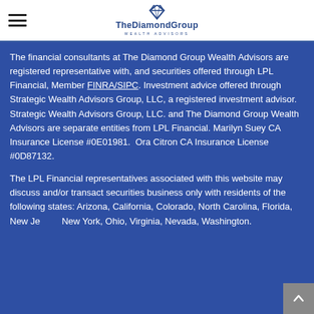The Diamond Group Wealth Advisors
The financial consultants at The Diamond Group Wealth Advisors are registered representative with, and securities offered through LPL Financial, Member FINRA/SIPC. Investment advice offered through Strategic Wealth Advisors Group, LLC, a registered investment advisor. Strategic Wealth Advisors Group, LLC. and The Diamond Group Wealth Advisors are separate entities from LPL Financial. Marilyn Suey CA Insurance License #0E01981. Ora Citron CA Insurance License #0D87132.
The LPL Financial representatives associated with this website may discuss and/or transact securities business only with residents of the following states: Arizona, California, Colorado, North Carolina, Florida, New Jersey, New York, Ohio, Virginia, Nevada, Washington.